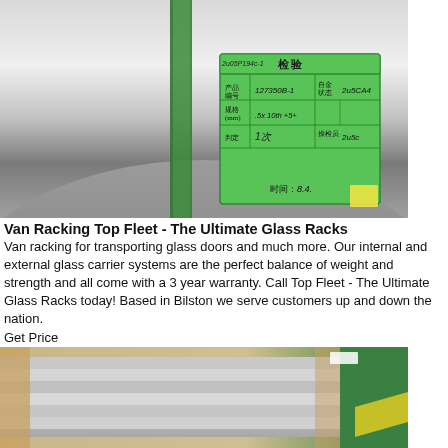[Figure (photo): Close-up of a polished metal pipe/tube with a green inspection label attached by a green strap. The label has Chinese characters and handwritten text including '检验', product code '127350B-1', and other quality control information.]
Van Racking Top Fleet - The Ultimate Glass Racks
Van racking for transporting glass doors and much more. Our internal and external glass carrier systems are the perfect balance of weight and strength and all come with a 3 year warranty. Call Top Fleet - The Ultimate Glass Racks today! Based in Bilston we serve customers up and down the nation.
Get Price
[Figure (photo): Photo of flat metallic/aluminum sheets or panels, partially wrapped, stored on a surface with green and yellow markings visible in the background.]